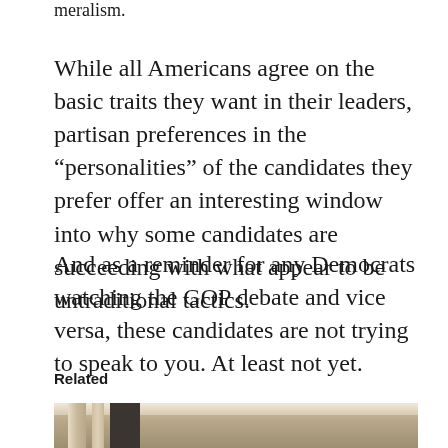meralism.
While all Americans agree on the basic traits they want in their leaders, partisan preferences in the “personalities” of the candidates they prefer offer an interesting window into why some candidates are succeeding with what appear to be untraditional tactics.
And as a reminder for any Democrats watching the GOP debate and vice versa, these candidates are not trying to speak to you. At least not yet.
Related
[Figure (photo): Bottom portion of a photo showing classical architectural columns and ceiling, partially cropped at the bottom of the page.]